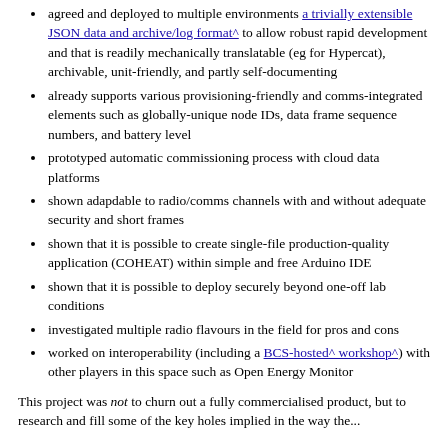agreed and deployed to multiple environments a trivially extensible JSON data and archive/log format^ to allow robust rapid development and that is readily mechanically translatable (eg for Hypercat), archivable, unit-friendly, and partly self-documenting
already supports various provisioning-friendly and comms-integrated elements such as globally-unique node IDs, data frame sequence numbers, and battery level
prototyped automatic commissioning process with cloud data platforms
shown adapdable to radio/comms channels with and without adequate security and short frames
shown that it is possible to create single-file production-quality application (COHEAT) within simple and free Arduino IDE
shown that it is possible to deploy securely beyond one-off lab conditions
investigated multiple radio flavours in the field for pros and cons
worked on interoperability (including a BCS-hosted^ workshop^) with other players in this space such as Open Energy Monitor
This project was not to churn out a fully commercialised product, but to research and fill some of the key holes implied in the way the...